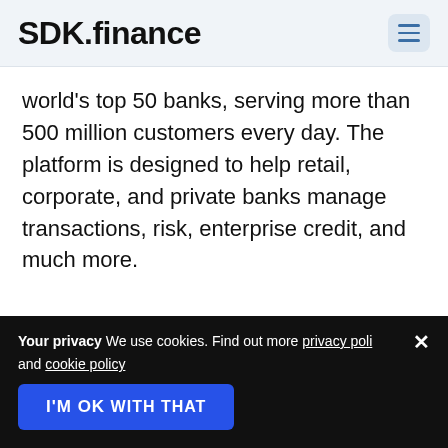SDK.finance
world's top 50 banks, serving more than 500 million customers every day. The platform is designed to help retail, corporate, and private banks manage transactions, risk, enterprise credit, and much more.
Finastra
Your privacy We use cookies. Find out more privacy policy and cookie policy
I'M OK WITH THAT